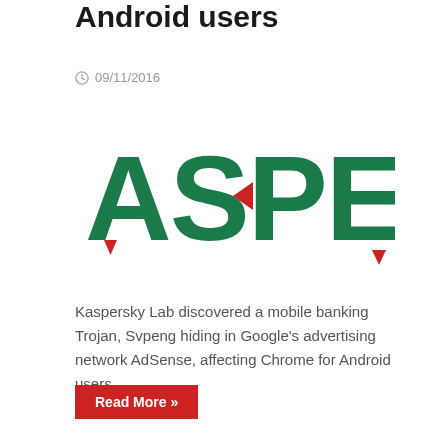Android users
09/11/2016
[Figure (logo): Kaspersky Lab logo in green with red triangular accents]
Kaspersky Lab discovered a mobile banking Trojan, Svpeng hiding in Google's advertising network AdSense, affecting Chrome for Android users.
Read More »
Ma...